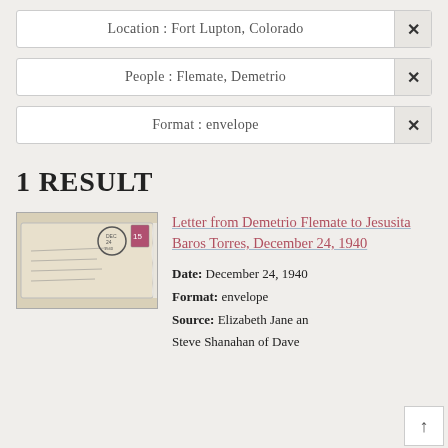Location : Fort Lupton, Colorado
People : Flemate, Demetrio
Format : envelope
1 RESULT
[Figure (photo): Photograph of an envelope addressed to someone, with a postmark and stamp visible.]
Letter from Demetrio Flemate to Jesusita Baros Torres, December 24, 1940
Date: December 24, 1940
Format: envelope
Source: Elizabeth Jane and Steve Shanahan of Dave